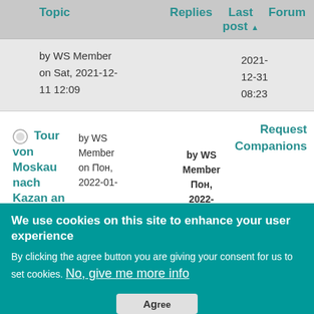| Topic | Replies | Last post | Forum |
| --- | --- | --- | --- |
| by WS Member
on Sat, 2021-12-11 12:09 |  | 2021-12-31
08:23 |  |
| Tour von Moskau nach Kazan an der Wolga entlang
by WS Member
on Пон, 2022-01- |  | by WS Member
Пон,
2022-01-03
13:52 | Request Companions |
We use cookies on this site to enhance your user experience
By clicking the agree button you are giving your consent for us to set cookies. No, give me more info